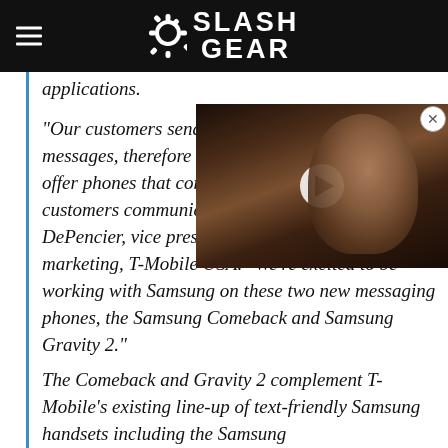SlashGear
applications.
[Figure (photo): Video thumbnail showing a man (Elon Musk) with a play button overlay, with a close (X) button in the top right corner.]
"Our customers send and receive messages, therefore it's important to offer phones that compliment how customers communicate," said Wendy Piñero-DePencier, vice president, brand and calendar marketing, T-Mobile USA. "We're excited to be working with Samsung on these two new messaging phones, the Samsung Comeback and Samsung Gravity 2."
The Comeback and Gravity 2 complement T-Mobile's existing line-up of text-friendly Samsung handsets including the Samsung